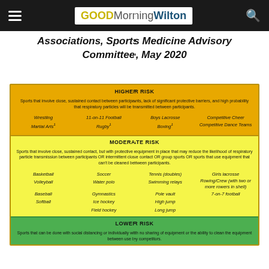GOOD Morning Wilton
Associations, Sports Medicine Advisory Committee, May 2020
| HIGHER RISK | MODERATE RISK | LOWER RISK |
| --- | --- | --- |
| Wrestling | 11-on-11 Football | Boys Lacrosse | Competitive Cheer |
| Martial Arts¹ | Rugby¹ | Boxing¹ | Competitive Dance Teams |
| Basketball | Soccer | Tennis (doubles) | Girls lacrosse |
| Volleyball | Water polo | Swimming relays | Rowing/Crew (with two or more rowers in shell) |
| Baseball | Gymnastics | Pole vault | 7-on-7 football |
| Softball | Ice hockey | High jump |  |
|  | Field hockey | Long jump |  |